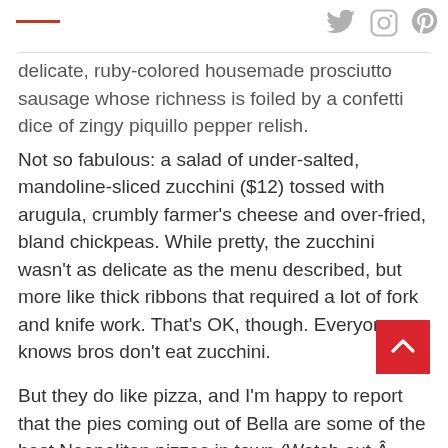[red line decoration] [Twitter icon] [Instagram icon] [Pinterest icon]
delicate, ruby-colored housemade prosciutto sausage whose richness is foiled by a confetti dice of zingy piquillo pepper relish.
Not so fabulous: a salad of under-salted, mandoline-sliced zucchini ($12) tossed with arugula, crumbly farmer’s cheese and over-fried, bland chickpeas. While pretty, the zucchini wasn’t as delicate as the menu described, but more like thick ribbons that required a lot of fork and knife work. That’s OK, though. Everyone knows bros don’t eat zucchini.
But they do like pizza, and I’m happy to report that the pies coming out of Bella are some of the best Neapolitan pizzas in town (Watch out Â Nellcote.)